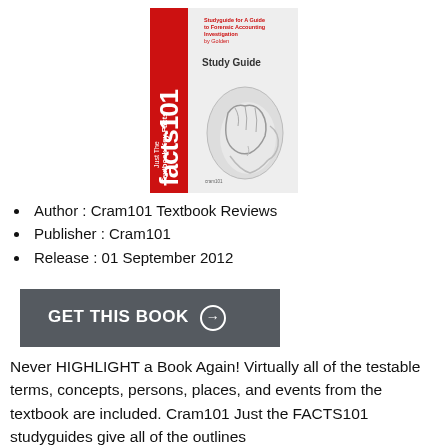[Figure (illustration): Book cover of 'Just The Facts101 Textbook Key Facts' study guide for A Guide to Forensic Accounting Investigation by Golden, published by Cram101. Cover shows a stylized human head with brain visible and red vertical text reading 'facts101'.]
Author : Cram101 Textbook Reviews
Publisher : Cram101
Release : 01 September 2012
GET THIS BOOK →
Never HIGHLIGHT a Book Again! Virtually all of the testable terms, concepts, persons, places, and events from the textbook are included. Cram101 Just the FACTS101 studyguides give all of the outlines